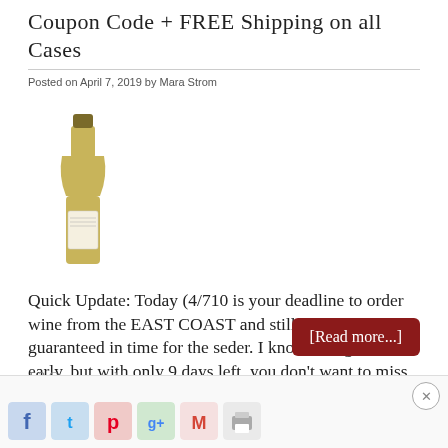Coupon Code + FREE Shipping on all Cases
Posted on April 7, 2019 by Mara Strom
[Figure (photo): A wine bottle with a label, tall and slender, photographed against a white background.]
Quick Update: Today (4/710 is your deadline to order wine from the EAST COAST and still have delivery guaranteed in time for the seder. I know it might feel early, but with only 9 days left, you don't want to miss out on this sale! Want to score …
[Read more...]
{ 2 Comments }